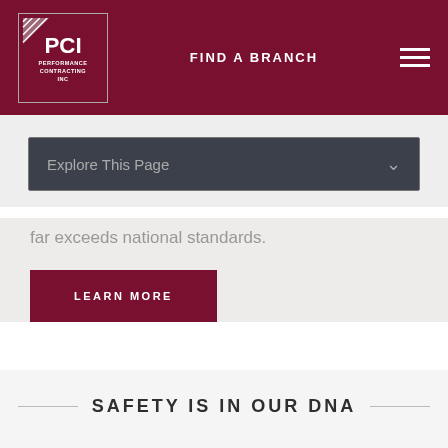PCI PERFORMANCE CONTRACTING INC — FIND A BRANCH
[Figure (logo): PCI Performance Contracting Inc logo — white text on dark red background with diagonal stripe pattern]
Explore This Page
far exceeds national standards.
LEARN MORE
SAFETY IS IN OUR DNA